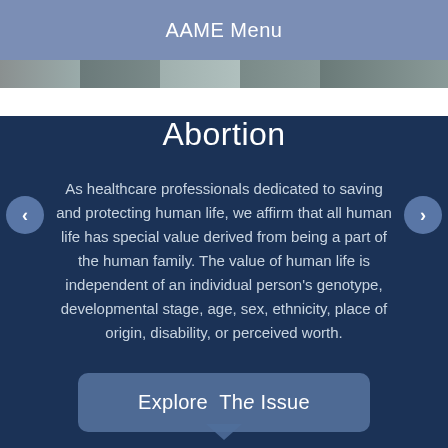AAME Menu
Abortion
As healthcare professionals dedicated to saving and protecting human life, we affirm that all human life has special value derived from being a part of the human family. The value of human life is independent of an individual person's genotype, developmental stage, age, sex, ethnicity, place of origin, disability, or perceived worth.
Explore The Issue